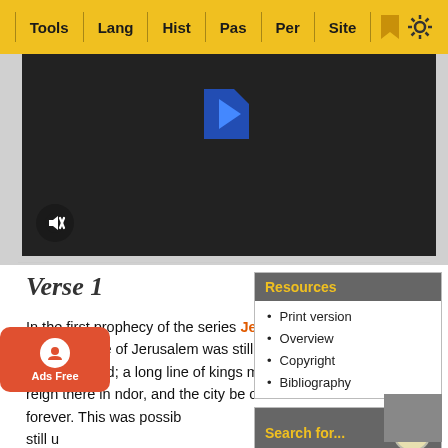Tools | Lang | Hist | Pas | Per | Site
[Figure (screenshot): Dark video player area with blue logo/play icon and mute button]
Verse 1
In the first prophecy of the series Jeremiah 18:0, the fate of Jerusalem was still undetermined; a long line of kings might yet reign there in ndor, and the city be oited forever. This was possib still u effort
Resources
Print version
Overview
Copyright
Bibliography
Search for...
[Figure (screenshot): Ads Free overlay button with user icon]